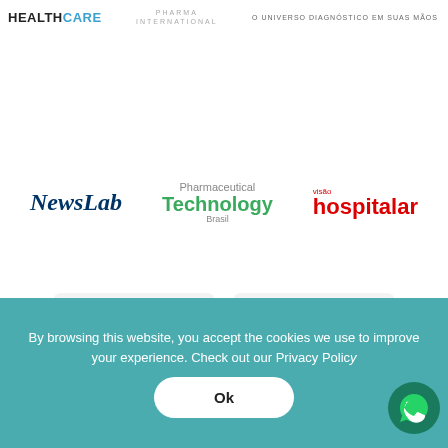[Figure (logo): HealthCare logo (HEALTH in black, CARE in blue)]
[Figure (logo): Pharma International logo in gray uppercase spaced letters]
[Figure (logo): O Universo Diagnostico em suas Maos text logo]
[Figure (logo): NewsLab italic bold dark blue logo]
[Figure (logo): Pharmaceutical Technology Brasil logo in green]
[Figure (logo): Visao Hospitalar red bold logo]
[Figure (logo): Sechat logo with cannabis leaf icon and text on gray background]
[Figure (logo): tvDoutor logo in teal on gray background]
Partnerships
By browsing this website, you accept the cookies we use to improve your experience. Check out our Privacy Policy
Ok